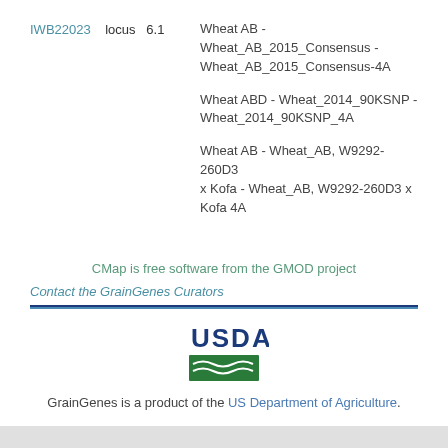IWB22023    locus   6.1
Wheat AB - Wheat_AB_2015_Consensus - Wheat_AB_2015_Consensus-4A
Wheat ABD - Wheat_2014_90KSNP - Wheat_2014_90KSNP_4A
Wheat AB - Wheat_AB, W9292-260D3 x Kofa - Wheat_AB, W9292-260D3 x Kofa 4A
CMap is free software from the GMOD project
Contact the GrainGenes Curators
[Figure (logo): USDA logo with stylized field graphic]
GrainGenes is a product of the US Department of Agriculture.